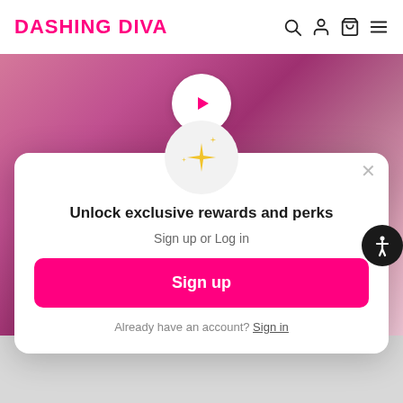DASHING DIVA
[Figure (screenshot): Hero banner with pink background showing text 'WAY POLISH GOODBYE DASHING DIVA' with a white play button circle overlay]
[Figure (infographic): Modal popup with sparkle icon, title 'Unlock exclusive rewards and perks', subtitle 'Sign up or Log in', a pink Sign up button, and a 'Already have an account? Sign in' link]